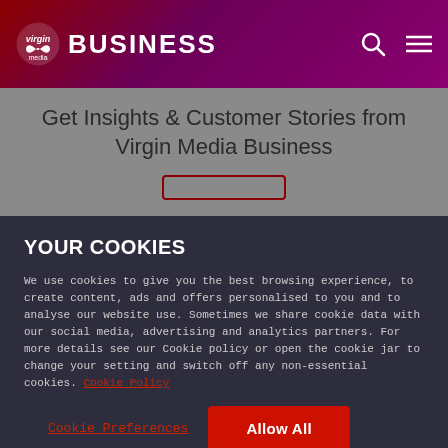Virgin Media Business
Get Insights & Customer Stories from Virgin Media Business
YOUR COOKIES
We use cookies to give you the best browsing experience, to create content, ads and offers personalised to you and to analyse our website use. Sometimes we share cookie data with our social media, advertising and analytics partners. For more details see our Cookie policy or open the cookie jar to change your setting and switch off any non-essential cookies. Cookie Policy
Cookie Preferences
Allow All